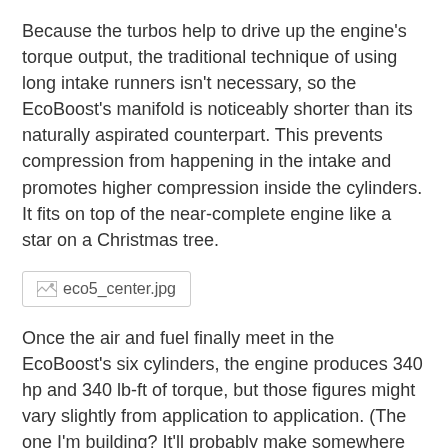Because the turbos help to drive up the engine's torque output, the traditional technique of using long intake runners isn't necessary, so the EcoBoost's manifold is noticeably shorter than its naturally aspirated counterpart. This prevents compression from happening in the intake and promotes higher compression inside the cylinders. It fits on top of the near-complete engine like a star on a Christmas tree.
[Figure (photo): Image placeholder: eco5_center.jpg]
Once the air and fuel finally meet in the EcoBoost's six cylinders, the engine produces 340 hp and 340 lb-ft of torque, but those figures might vary slightly from application to application. (The one I'm building? It'll probably make somewhere closer to 200 hp and drink oil like a worn-out RX-7.) Those numbers were also obtained on premium fuel — Ford recommends using the good stuff but assures us that the EcoBoost won't have detonation issues on regular unleaded.
Using direct injection allows the engine to run at a higher